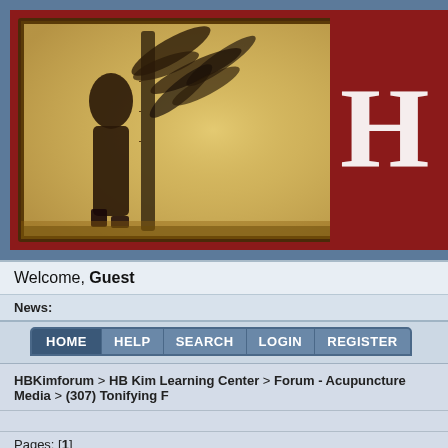[Figure (screenshot): Forum website header banner with an Asian/acupuncture theme. A large parchment-style image with bamboo ink painting and a figure is displayed on a dark red background. On the right side, a white letter H kanji-style character is visible.]
Welcome, Guest
News:
[Figure (screenshot): Navigation bar with tabs: HOME, HELP, SEARCH, LOGIN, REGISTER]
HBKimforum > HB Kim Learning Center > Forum - Acupuncture Media > (307) Tonifying F...
Pages: [1]
Author   Topic: (307) Tonifying Formulas For Children...